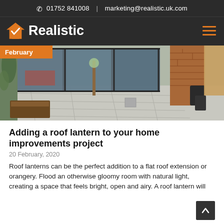01752 841008 | marketing@realistic.uk.com
[Figure (logo): Realistic company logo with orange house icon and white bold text 'Realistic' on dark background, with hamburger menu icon]
[Figure (photo): Exterior photo of a modern home extension with large sliding glass doors, brick walls, patio area with stone slabs, garden plants and trees, and a rubbish bin. Orange 'February' badge overlaid top-left.]
Adding a roof lantern to your home improvements project
20 February, 2020
Roof lanterns can be the perfect addition to a flat roof extension or orangery. Flood an otherwise gloomy room with natural light, creating a space that feels bright, open and airy. A roof lantern will